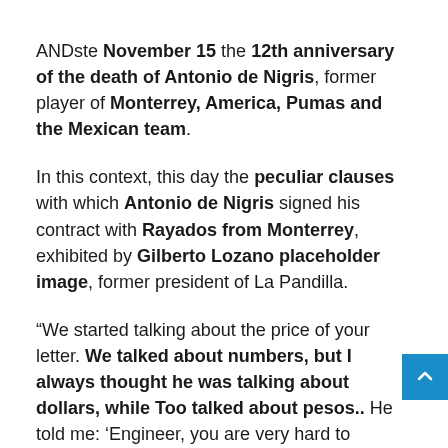ANDste November 15 the 12th anniversary of the death of Antonio de Nigris, former player of Monterrey, America, Pumas and the Mexican team.
In this context, this day the peculiar clauses with which Antonio de Nigris signed his contract with Rayados from Monterrey, exhibited by Gilberto Lozano placeholder image, former president of La Pandilla.
“We started talking about the price of your letter. We talked about numbers, but I always thought he was talking about dollars, while Too talked about pesos.. He told me: ‘Engineer, you are very hard to negotiate, I am going to commit to the team, how much they are 50 thousand pesos'. When he said that, I took out the checkbook and paid him, “he